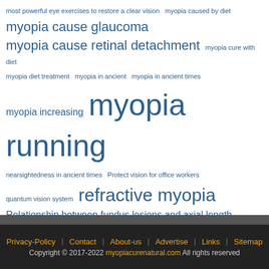most powerful eye exercises to restore a clear vision  myopia caused by diet
myopia cause glaucoma
myopia cause retinal detachment  myopia cure with diet
myopia diet treatment  myopia in ancient  myopia in ancient times
myopia increasing  myopia running
nearsightedness in ancient times  Protect vision for office workers
quantum vision system  refractive myopia
Relationship between fundus lesions and axial length
Seating arrangements for myopia children
stop wearing glasses will my eyesight improve?  vision screening
ways to improve eyesight without surgery
Privacy-Policy  Contact  About-us  Advertise  Links  Sitemap  Copyright © 2017-2022 myopiacurenatural.com All rights reserved